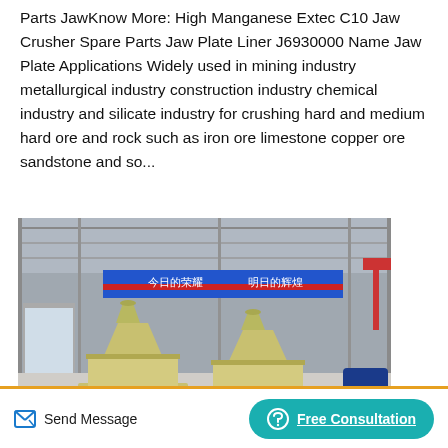Parts JawKnow More: High Manganese Extec C10 Jaw Crusher Spare Parts Jaw Plate Liner J6930000 Name Jaw Plate Applications Widely used in mining industry metallurgical industry construction industry chemical industry and silicate industry for crushing hard and medium hard ore and rock such as iron ore limestone copper ore sandstone and so...
[Figure (photo): Industrial factory interior showing two large yellow cone crusher machines on the floor of a large steel-framed warehouse. A blue banner with Chinese characters is visible in the background. A red crane is visible on the right side. A TOP navigation button appears in the lower right corner of the image.]
Send Message | Free Consultation